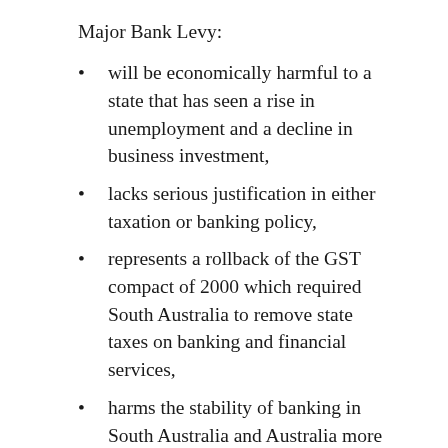Major Bank Levy:
will be economically harmful to a state that has seen a rise in unemployment and a decline in business investment,
lacks serious justification in either taxation or banking policy,
represents a rollback of the GST compact of 2000 which required South Australia to remove state taxes on banking and financial services,
harms the stability of banking in South Australia and Australia more generally,
increases ‘regime uncertainty’ for investors, and
there are reasons to believe it has already